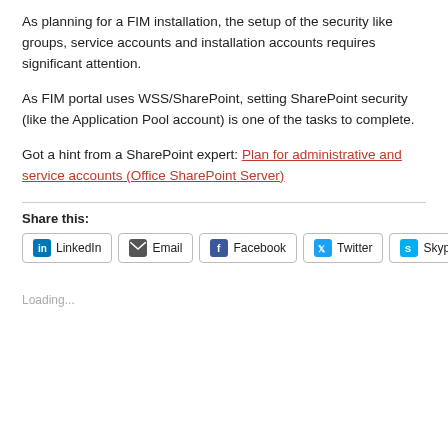As planning for a FIM installation, the setup of the security like groups, service accounts and installation accounts requires significant attention.
As FIM portal uses WSS/SharePoint, setting SharePoint security (like the Application Pool account) is one of the tasks to complete.
Got a hint from a SharePoint expert: Plan for administrative and service accounts (Office SharePoint Server)
Share this:
LinkedIn Email Facebook Twitter Skype
Loading...